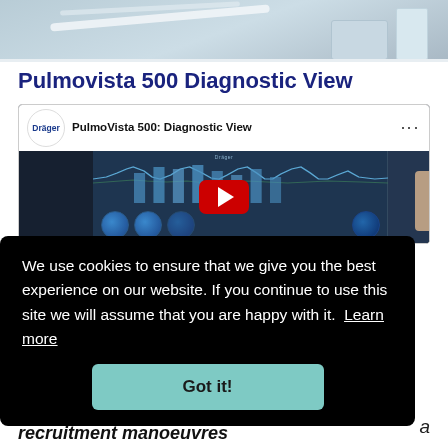[Figure (photo): Top portion of a medical device/sensor with cables visible against a light background]
Pulmovista 500 Diagnostic View
[Figure (screenshot): YouTube video thumbnail showing PulmoVista 500: Diagnostic View by Dräger, with a medical monitoring screen displaying waveforms, EIT lung images, and a red YouTube play button in the center]
We use cookies to ensure that we give you the best experience on our website. If you continue to use this site we will assume that you are happy with it.  Learn more
Got it!
a
recruitment manoeuvres